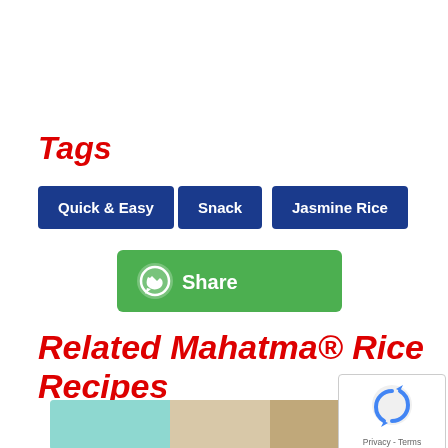Tags
Quick & Easy
Snack
Jasmine Rice
[Figure (other): WhatsApp Share button with green background and WhatsApp icon, labeled 'Share']
Related Mahatma® Rice Recipes
[Figure (photo): Food/recipe photo showing teal/mint colored items on a light background]
Privacy - Terms